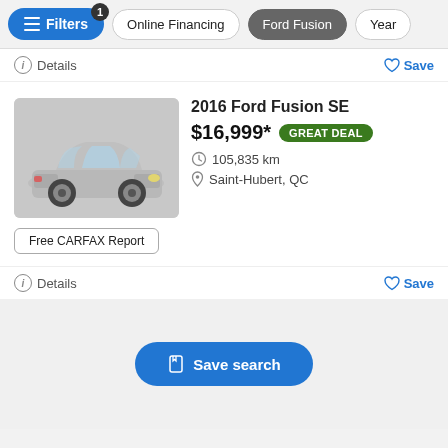Filters | Online Financing | Ford Fusion | Year
Details | Save
[Figure (photo): Silver 2016 Ford Fusion SE sedan, front three-quarter view, with Automobile En Direct dealer badge]
2016 Ford Fusion SE
$16,999* GREAT DEAL
105,835 km
Saint-Hubert, QC
Free CARFAX Report
Details | Save
Save search